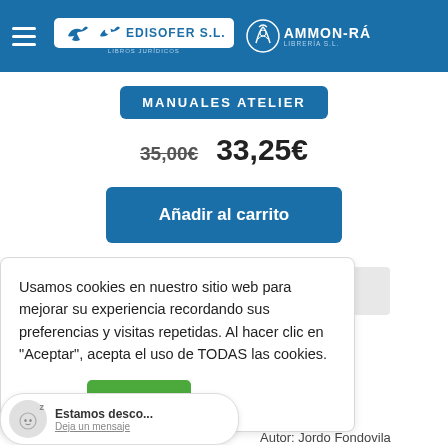EDISOFER S.L. | AMMON-RÁ LIBRERÍA S.L.
MANUALES ATELIER
35,00€  33,25€
Añadir al carrito
Usamos cookies en nuestro sitio web para mejorar su experiencia recordando sus preferencias y visitas repetidas. Al hacer clic en "Aceptar", acepta el uso de TODAS las cookies.
Leer más
Aceptar
n digital
s y
dades
9047
Autor: Jordo Fondovila
Estamos desco...
Deja un mensaje